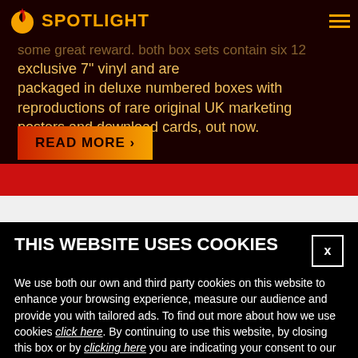SPOTLIGHT (logo/nav)
...some great reward. Both box sets contain six 12... exclusive 7" vinyl and are packaged in deluxe numbered boxes with reproductions of rare original UK marketing posters and download cards, out now.
READ MORE >
THIS WEBSITE USES COOKIES
We use both our own and third party cookies on this website to enhance your browsing experience, measure our audience and provide you with tailored ads. To find out more about how we use cookies click here. By continuing to use this website, by closing this box or by clicking here you are indicating your consent to our use of those cookies.
ACCEPT COOKIES